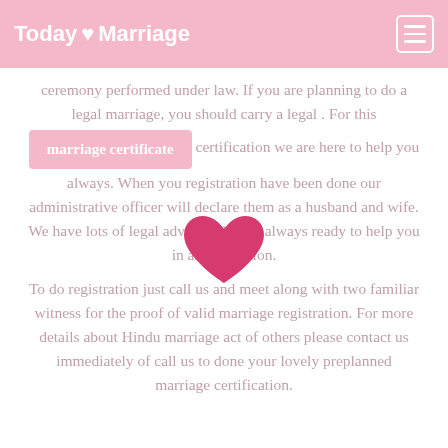Today ♥ Marriage
ceremony performed under law. If you are planning to do a legal marriage, you should carry a legal . For this marriage certificate certification we are here to help you always. When you registration have been done our administrative officer will declare them as a husband and wife. We have lots of legal adviser who are always ready to help you in any condition.
To do registration just call us and meet along with two familiar witness for the proof of valid marriage registration. For more details about Hindu marriage act of others please contact us immediately of call us to done your lovely preplanned marriage certification.